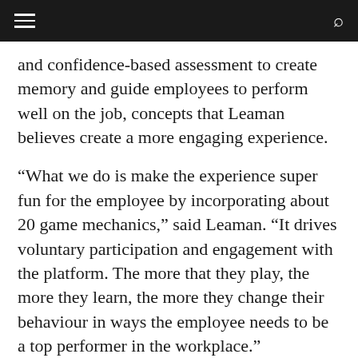and confidence-based assessment to create memory and guide employees to perform well on the job, concepts that Leaman believes create a more engaging experience.
“What we do is make the experience super fun for the employee by incorporating about 20 game mechanics,” said Leaman. “It drives voluntary participation and engagement with the platform. The more that they play, the more they learn, the more they change their behaviour in ways the employee needs to be a top performer in the workplace.”
Leaman said Axonify’s platform is directed